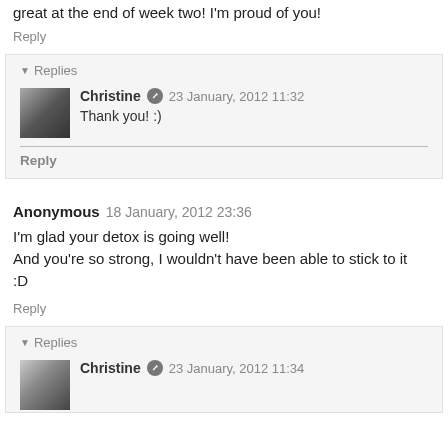great at the end of week two! I'm proud of you!
Reply
Replies
Christine  23 January, 2012 11:32
Thank you! :)
Reply
Anonymous  18 January, 2012 23:36
I'm glad your detox is going well!
And you're so strong, I wouldn't have been able to stick to it
:D
Reply
Replies
Christine  23 January, 2012 11:34